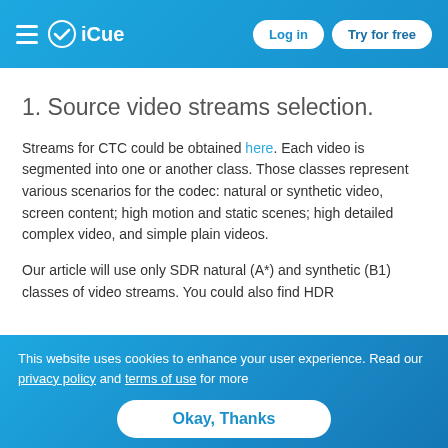iCue — Log in | Try for free
1. Source video streams selection.
Streams for CTC could be obtained here. Each video is segmented into one or another class. Those classes represent various scenarios for the codec: natural or synthetic video, screen content; high motion and static scenes; high detailed complex video, and simple plain videos.
Our article will use only SDR natural (A*) and synthetic (B1) classes of video streams. You could also find HDR
This website uses cookies to enhance your user experience. Read our privacy policy and terms of use for more
Okay, Thanks